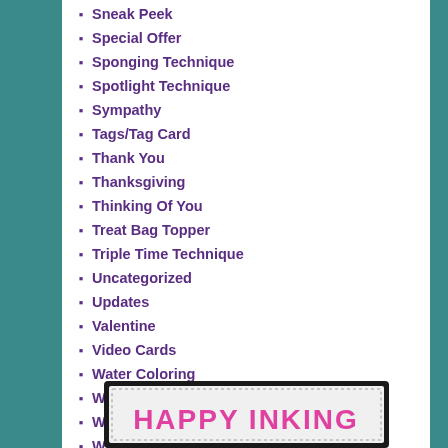Sneak Peek
Special Offer
Sponging Technique
Spotlight Technique
Sympathy
Tags/Tag Card
Thank You
Thanksgiving
Thinking Of You
Treat Bag Topper
Triple Time Technique
Uncategorized
Updates
Valentine
Video Cards
Water Coloring
Wedding
Welcome
White Wash Technique
[Figure (photo): A greeting card with colorful handwritten text reading HAPPY INKING on a black bordered background with dotted inner border]